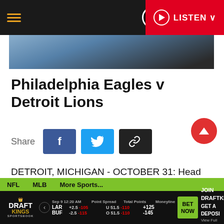101 WRIF — LISTEN
[Figure (photo): Partial photo of Detroit Lions head coach at Ford Field, cropped at top]
Philadelphia Eagles v Detroit Lions
Share
DETROIT, MICHIGAN - OCTOBER 31: Head coach Dan Campbell of the Detroit Lions while playing the Philadelphia Eagles at Ford Field on October 31, 2021 in Detroit, Michigan. (Photo by Gregory Shamus/Getty Images)
NFL  MLB  More Sports...  DraftKings Sportsbook — Sep 9 12:20 AM  Point Spread  Total Points  Moneyline  LAR +2.5 -105  U 51.5 -110  +125  BET NOW  BUF -2.5 -115  O 51.5 -110  -145  JOIN DRAFTKINGS GET A DEPOSIT View Full Terms